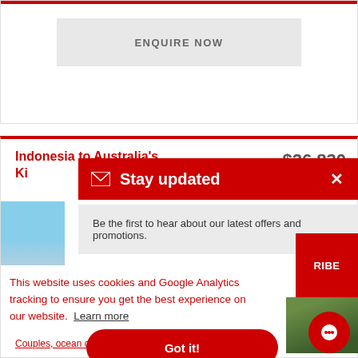ENQUIRE NOW
Indonesia to Australia's Ki...
$26,830
Stay updated
Be the first to hear about our latest offers and promotions.
RIBE
This website uses cookies and Google Analytics tracking to ensure you get the best experience on our website. Learn more
Got it!
Couples, ocean cruise and luxury